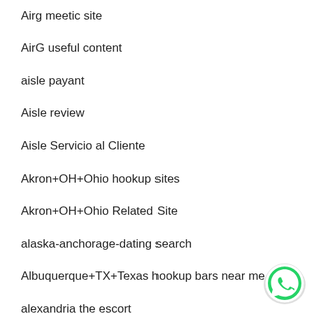Airg meetic site
AirG useful content
aisle payant
Aisle review
Aisle Servicio al Cliente
Akron+OH+Ohio hookup sites
Akron+OH+Ohio Related Site
alaska-anchorage-dating search
Albuquerque+TX+Texas hookup bars near me
alexandria the escort
all payday loans online
[Figure (logo): WhatsApp contact button (green phone icon on white circle with grey shadow background)]